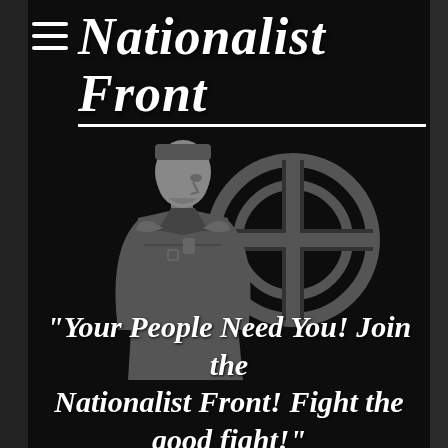Nationalist Front
[Figure (illustration): Greyscale illustration of a uniformed man facing right in profile, with a large circular crossed symbol (sun cross / Celtic cross) behind him, on a black background]
"Your People Need You! Join the Nationalist Front! Fight the good fight!"